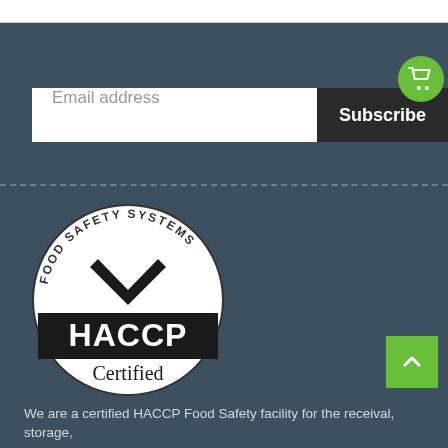[Figure (screenshot): Email subscription form with white input field showing placeholder 'Email address' and a dark 'Subscribe' button, on a dark teal background. A green circular cart icon overlaps the top-right corner of the form.]
[Figure (logo): HACCP Certified Food Safety Systems circular badge/seal. White circle with black text 'FOOD SAFETY SYSTEMS' curved around the top, a checkmark symbol in the center, a black banner with white text 'HACCP' in large bold letters, and 'Certified' text below in black on white.]
We are a certified HACCP Food Safety facility for the receival, storage,